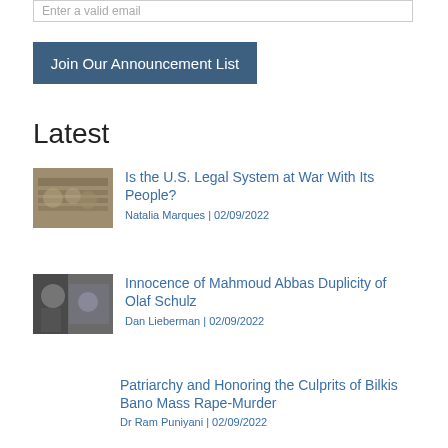Enter a valid email
Join Our Announcement List
Latest
Is the U.S. Legal System at War With Its People? | Natalia Marques | 02/09/2022
Innocence of Mahmoud Abbas Duplicity of Olaf Schulz | Dan Lieberman | 02/09/2022
Patriarchy and Honoring the Culprits of Bilkis Bano Mass Rape-Murder | Dr Ram Puniyani | 02/09/2022